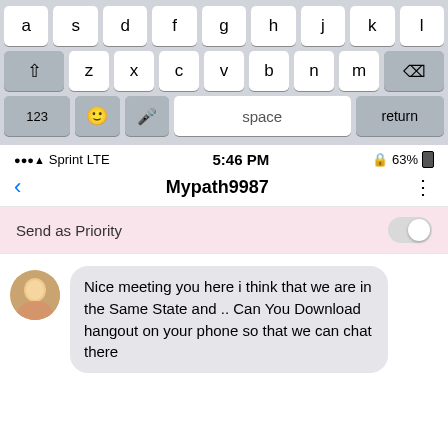[Figure (screenshot): iOS keyboard showing bottom two rows: shift/z/x/c/v/b/n/m/backspace row and 123/emoji/mic/space/return row]
[Figure (screenshot): iOS status bar showing Sprint LTE carrier, 5:46 PM time, lock icon, 63% battery]
Mypath9987
Send as Priority
Nice meeting you here i think that we are in the Same State and .. Can You Download hangout on your phone so that we can chat there